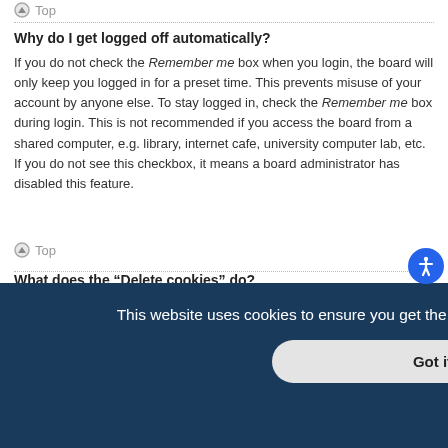Top
Why do I get logged off automatically?
If you do not check the Remember me box when you login, the board will only keep you logged in for a preset time. This prevents misuse of your account by anyone else. To stay logged in, check the Remember me box during login. This is not recommended if you access the board from a shared computer, e.g. library, internet cafe, university computer lab, etc. If you do not see this checkbox, it means a board administrator has disabled this feature.
Top
What does the “Delete cookies” do?
“Delete cookies” deletes the cookies created by phpBB which keep you authenticated and logged into the board. Cookies also provide functions such as read tracking if they have been enabled by a board administrator. If you are
atabase.
To alter them, visit your User Control Panel; a link can usually be found by
This website uses cookies to ensure you get the best experience on our website. Learn more
Got it!